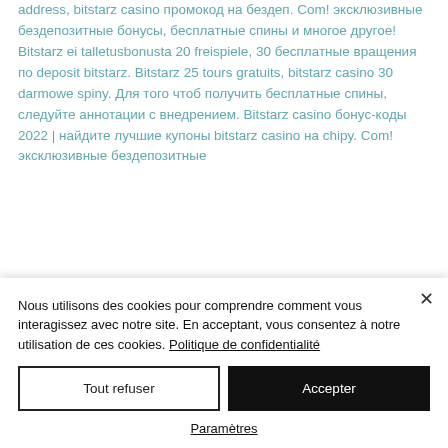address, bitstarz casino промокод на бездеп. Com! эксклюзивные бездепозитные бонусы, бесплатные спины и многое другое! Bitstarz ei talletusbonusta 20 freispiele, 30 бесплатные вращения по deposit bitstarz. Bitstarz 25 tours gratuits, bitstarz casino 30 darmowe spiny. Для того чтоб получить бесплатные спины, следуйте аннотации с внедрением. Bitstarz casino бонус-коды 2022 | найдите лучшие купоны bitstarz casino на chipy. Com! эксклюзивные бездепозитные
Nous utilisons des cookies pour comprendre comment vous interagissez avec notre site. En acceptant, vous consentez à notre utilisation de ces cookies. Politique de confidentialité
Tout refuser
Accepter
Paramètres